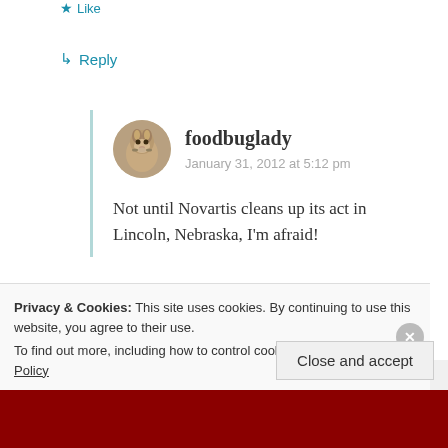★ Like
↳ Reply
foodbuglady
January 31, 2012 at 5:12 pm
Not until Novartis cleans up its act in Lincoln, Nebraska, I'm afraid!
Privacy & Cookies: This site uses cookies. By continuing to use this website, you agree to their use.
To find out more, including how to control cookies, see here: Cookie Policy
Close and accept